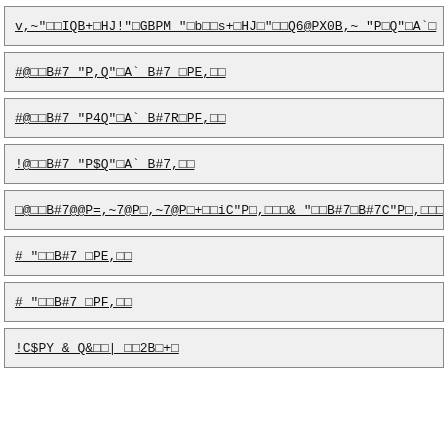v,~"□□IQB+□HJ!"□GBPM "□b□□s+□HJ□"□□Q6@PX0B,~ "P□Q"□A`□
#@□□B#7 "P,Q"□A` B#7 □PE,□□
#@□□B#7 "P4Q"□A` B#7R□PF,□□
!@□□B#7 "P$Q"□A` B#7,□□
□@□□B#7@@P=,~7@P□,~7@P□+□□iC"P□,□□□& "□□B#7□B#7C"P□,□□□
# "□□B#7 □PE,□□
# "□□B#7 □PF,□□
!C$PY & Q&□□| □□2B□+□